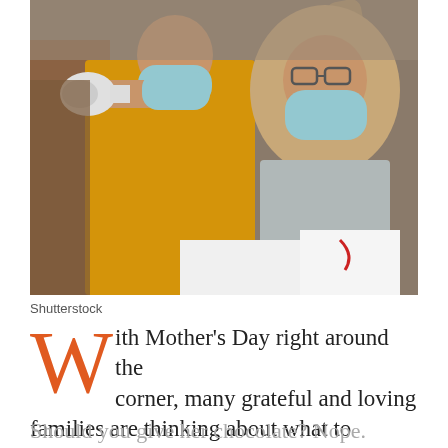[Figure (photo): Protest scene with masked women wearing surgical masks. One woman in a yellow jacket holds a megaphone, another woman in a beige hijab raises her fist and holds a white sign. Everyone wears blue surgical masks during what appears to be a pandemic-era demonstration.]
Shutterstock
With Mother's Day right around the corner, many grateful and loving families are thinking about what to give mum to show their appreciation.
Should you give her chocolate? Nope. Fancy soaps? Nope. Fuzzy slippers, pyjamas, scented